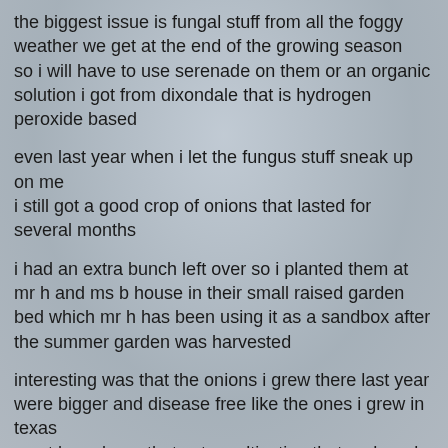the biggest issue is fungal stuff from all the foggy weather we get at the end of the growing season
so i will have to use serenade on them or an organic solution i got from dixondale that is hydrogen peroxide based
even last year when i let the fungus stuff sneak up on me
i still got a good crop of onions that lasted for several months
i had an extra bunch left over so i planted them at mr h and ms b house in their small raised garden bed which mr h has been using it as a sandbox after the summer garden was harvested
interesting was that the onions i grew there last year were bigger and disease free like the ones i grew in texas
must have been that extra cultivation that mr h and ms b did on the soil
two years ago i ordered my onions from a california based company but i noticed that they were getting them from dixondale out of texas